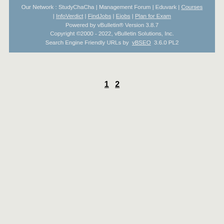Our Network : StudyChaCha | Management Forum | Eduvark | Courses | InfoVerdict | FindJobs | Ejobs | Plan for Exam
Powered by vBulletin® Version 3.8.7
Copyright ©2000 - 2022, vBulletin Solutions, Inc.
Search Engine Friendly URLs by vBSEO 3.6.0 PL2
1 2